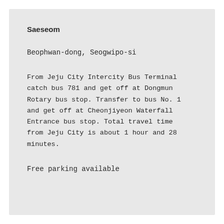Saeseom
Beophwan-dong, Seogwipo-si
From Jeju City Intercity Bus Terminal catch bus 781 and get off at Dongmun Rotary bus stop. Transfer to bus No. 1 and get off at Cheonjiyeon Waterfall Entrance bus stop. Total travel time from Jeju City is about 1 hour and 28 minutes.
Free parking available